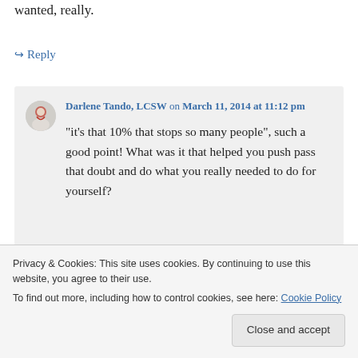wanted, really.
↪ Reply
Darlene Tando, LCSW on March 11, 2014 at 11:12 pm
“it’s that 10% that stops so many people”, such a good point! What was it that helped you push pass that doubt and do what you really needed to do for yourself?
Privacy & Cookies: This site uses cookies. By continuing to use this website, you agree to their use.
To find out more, including how to control cookies, see here: Cookie Policy
Close and accept